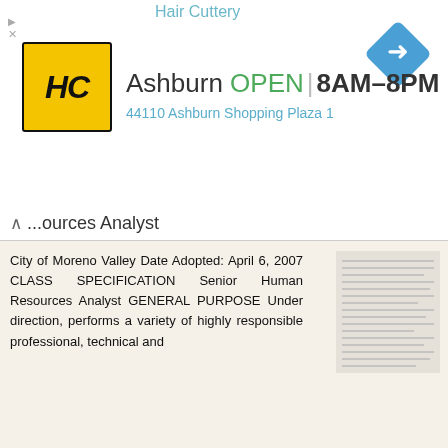[Figure (screenshot): Hair Cuttery advertisement banner showing HC logo, Ashburn location, OPEN 8AM-8PM hours, and navigation diamond icon]
...ources Analyst
City of Moreno Valley Date Adopted: April 6, 2007 CLASS SPECIFICATION Senior Human Resources Analyst GENERAL PURPOSE Under direction, performs a variety of highly responsible professional, technical and
More information →
Long Beach Community College District Date Adopted: May 5, 2014. CLASS SPECIFICATION Director, School Relations
Long Beach Community College District Date Adopted: May 5, 2014 CLASS SPECIFICATION Director, School Relations